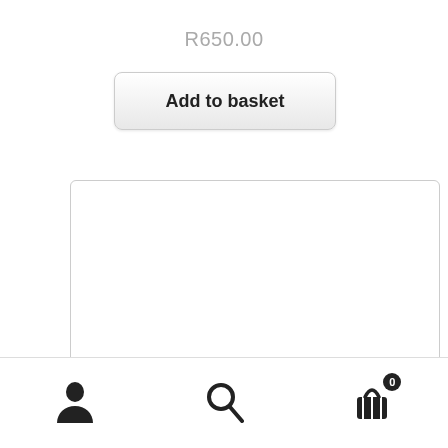R650.00
Add to basket
[Figure (other): Empty white content box with rounded corners and light gray border]
[Figure (infographic): Bottom navigation bar with user icon, search icon, and basket/cart icon with badge showing 0]